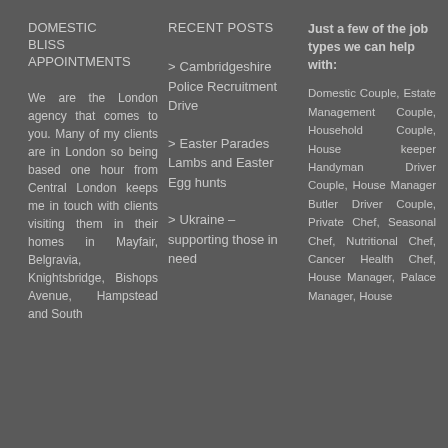DOMESTIC BLISS APPOINTMENTS
We are the London agency that comes to you. Many of my clients are in London so being based one hour from Central London keeps me in touch with clients visiting them in their homes in Mayfair, Belgravia, Knightsbridge, Bishops Avenue, Hampstead and South
RECENT POSTS
Cambridgeshire Police Recruitment Drive
Easter Parades Lambs and Easter Egg hunts
Ukraine – supporting those in need
Just a few of the job types we can help with:
Domestic Couple, Estate Management Couple, Household Couple, House keeper Handyman Driver Couple, House Manager Butler Driver Couple, Private Chef, Seasonal Chef, Nutritional Chef, Cancer Health Chef, House Manager, Palace Manager, House